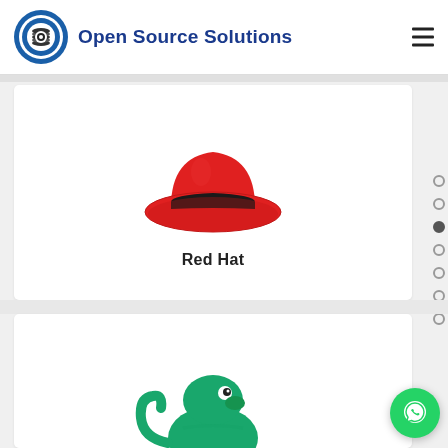Open Source Solutions
[Figure (logo): Red Hat logo - red fedora hat with black band]
Red Hat
[Figure (illustration): OpenSUSE chameleon logo - green chameleon, partially visible at bottom of page]
[Figure (other): WhatsApp contact button - green circle with chat bubble icon]